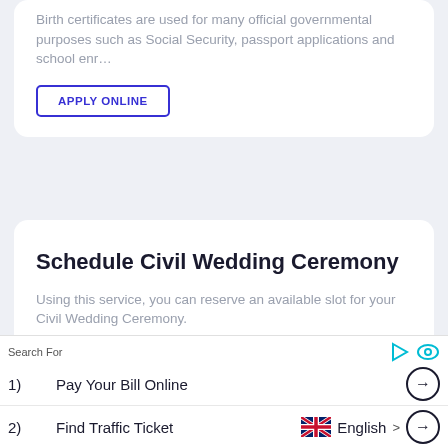Birth certificates are used for many official governmental purposes such as Social Security, passport applications and school enr…
APPLY ONLINE
Schedule Civil Wedding Ceremony
Using this service, you can reserve an available slot for your Civil Wedding Ceremony.
SCHEDULE NOW
Search For
1)  Pay Your Bill Online
2)  Find Traffic Ticket